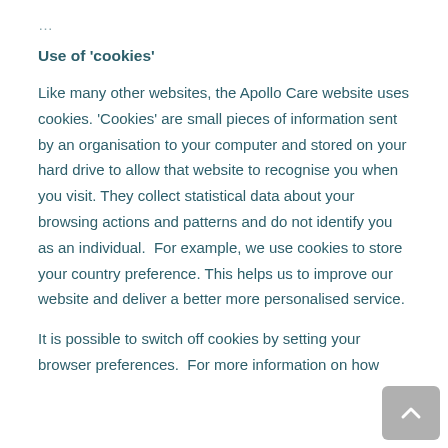Use of 'cookies'
Like many other websites, the Apollo Care website uses cookies. 'Cookies' are small pieces of information sent by an organisation to your computer and stored on your hard drive to allow that website to recognise you when you visit. They collect statistical data about your browsing actions and patterns and do not identify you as an individual.  For example, we use cookies to store your country preference. This helps us to improve our website and deliver a better more personalised service.
It is possible to switch off cookies by setting your browser preferences.  For more information on how